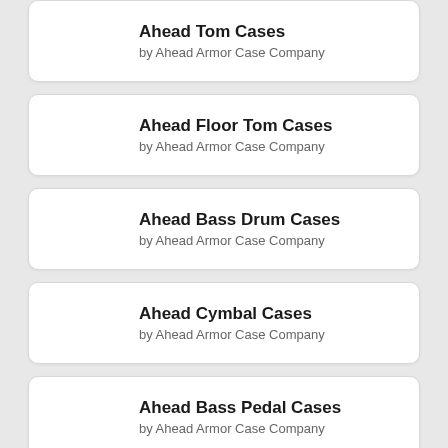Ahead Tom Cases
by Ahead Armor Case Company
Ahead Floor Tom Cases
by Ahead Armor Case Company
Ahead Bass Drum Cases
by Ahead Armor Case Company
Ahead Cymbal Cases
by Ahead Armor Case Company
Ahead Bass Pedal Cases
by Ahead Armor Case Company
Ahead Hardware Cases
by Ahead Armor Case Company